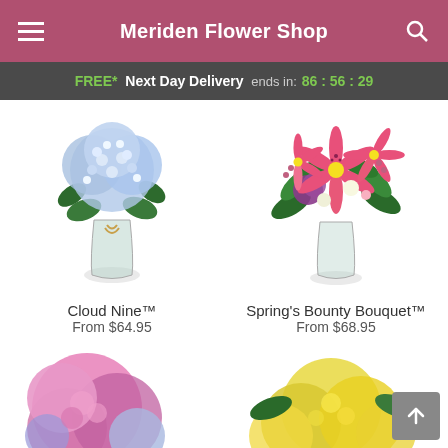Meriden Flower Shop
FREE* Next Day Delivery ends in: 86 : 56 : 29
[Figure (photo): Cloud Nine blue hydrangea bouquet in a glass vase]
Cloud Nine™
From $64.95
[Figure (photo): Spring's Bounty Bouquet with pink stargazer lilies and purple flowers in a glass vase]
Spring's Bounty Bouquet™
From $68.95
[Figure (photo): Pink and blue hydrangea arrangement partially visible at bottom left]
[Figure (photo): Yellow chrysanthemum arrangement partially visible at bottom right]